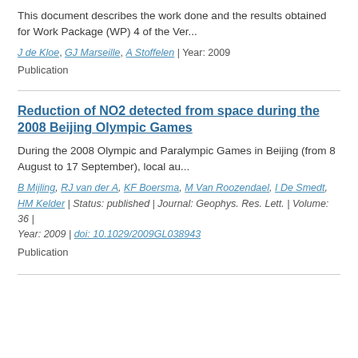This document describes the work done and the results obtained for Work Package (WP) 4 of the Ver...
J de Kloe, GJ Marseille, A Stoffelen | Year: 2009
Publication
Reduction of NO2 detected from space during the 2008 Beijing Olympic Games
During the 2008 Olympic and Paralympic Games in Beijing (from 8 August to 17 September), local au...
B Mijling, RJ van der A, KF Boersma, M Van Roozendael, I De Smedt, HM Kelder | Status: published | Journal: Geophys. Res. Lett. | Volume: 36 | Year: 2009 | doi: 10.1029/2009GL038943
Publication